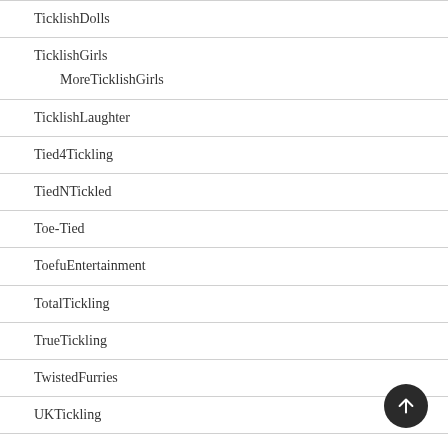TicklishDolls
TicklishGirls
MoreTicklishGirls
TicklishLaughter
Tied4Tickling
TiedNTickled
Toe-Tied
ToefuEntertainment
TotalTickling
TrueTickling
TwistedFurries
UKTickling